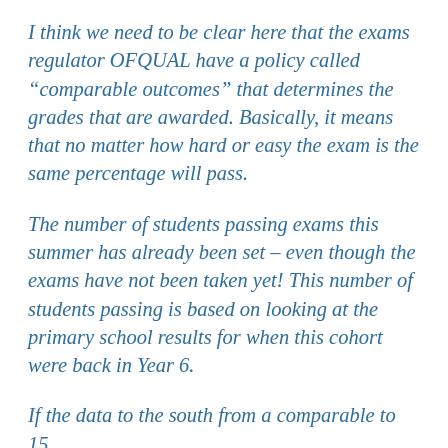I think we need to be clear here that the exams regulator OFQUAL have a policy called “comparable outcomes” that determines the grades that are awarded. Basically, it means that no matter how hard or easy the exam is the same percentage will pass.
The number of students passing exams this summer has already been set – even though the exams have not been taken yet! This number of students passing is based on looking at the primary school results for when this cohort were back in Year 6.
If the data to the south from a comparable to 15...